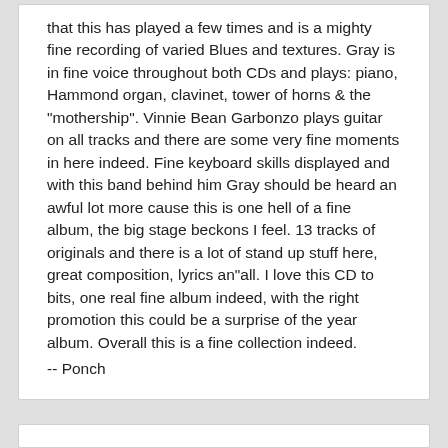that this has played a few times and is a mighty fine recording of varied Blues and textures. Gray is in fine voice throughout both CDs and plays: piano, Hammond organ, clavinet, tower of horns & the "mothership". Vinnie Bean Garbonzo plays guitar on all tracks and there are some very fine moments in here indeed. Fine keyboard skills displayed and with this band behind him Gray should be heard an awful lot more cause this is one hell of a fine album, the big stage beckons I feel. 13 tracks of originals and there is a lot of stand up stuff here, great composition, lyrics an"all. I love this CD to bits, one real fine album indeed, with the right promotion this could be a surprise of the year album. Overall this is a fine collection indeed.
-- Ponch